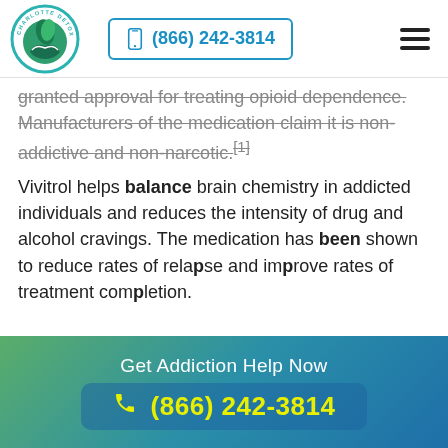[Figure (logo): Charlotte Detox Center circular logo with green leaf and hands design]
(866) 242-3814
granted approval for treating opioid dependence. Manufacturers of the medication claim it is non-addictive and non-narcotic.[1]
Vivitrol helps balance brain chemistry in addicted individuals and reduces the intensity of drug and alcohol cravings. The medication has been shown to reduce rates of relapse and improve rates of treatment completion.
Get Addiction Help Now
(866) 242-3814